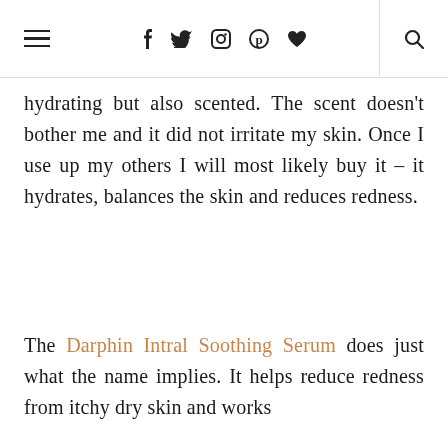≡   f  𝕏  ◯  ⊕  ♥    🔍
hydrating but also scented. The scent doesn't bother me and it did not irritate my skin. Once I use up my others I will most likely buy it – it hydrates, balances the skin and reduces redness.
The Darphin Intral Soothing Serum does just what the name implies. It helps reduce redness from itchy dry skin and works